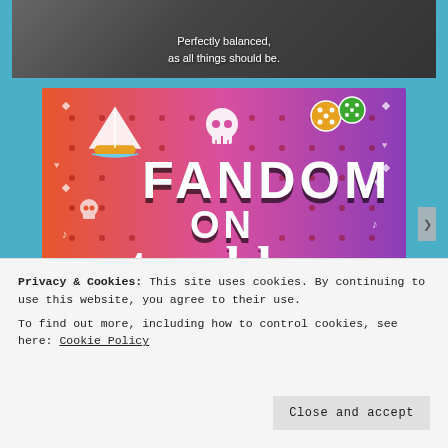[Figure (screenshot): Video screenshot showing a dark background with white subtitle text reading 'Perfectly balanced, as all things should be.']
[Figure (illustration): Colorful 'Fandom on Tumblr' promotional image with orange-to-purple gradient background, white doodle icons (sailboat, skull, dice, arrows, hearts, music notes), and bold text 'FANDOM ON tumblr']
Privacy & Cookies: This site uses cookies. By continuing to use this website, you agree to their use.
To find out more, including how to control cookies, see here: Cookie Policy
Close and accept